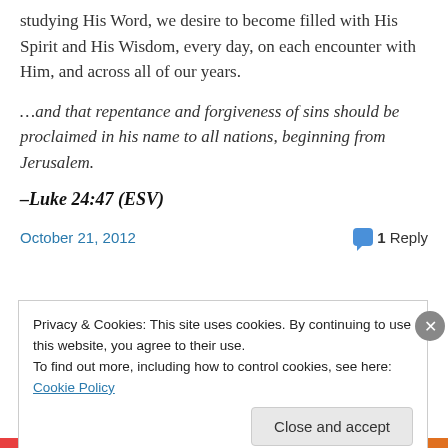studying His Word, we desire to become filled with His Spirit and His Wisdom, every day, on each encounter with Him, and across all of our years.
…and that repentance and forgiveness of sins should be proclaimed in his name to all nations, beginning from Jerusalem.
–Luke 24:47 (ESV)
October 21, 2012   1 Reply
Privacy & Cookies: This site uses cookies. By continuing to use this website, you agree to their use. To find out more, including how to control cookies, see here: Cookie Policy
Close and accept